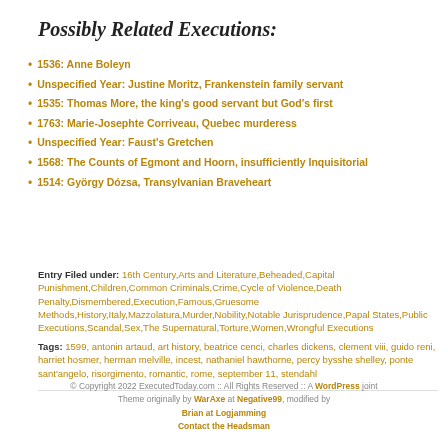Possibly Related Executions:
1536: Anne Boleyn
Unspecified Year: Justine Moritz, Frankenstein family servant
1535: Thomas More, the king's good servant but God's first
1763: Marie-Josephte Corriveau, Quebec murderess
Unspecified Year: Faust's Gretchen
1568: The Counts of Egmont and Hoorn, insufficiently Inquisitorial
1514: György Dózsa, Transylvanian Braveheart
Entry Filed under: 16th Century,Arts and Literature,Beheaded,Capital Punishment,Children,Common Criminals,Crime,Cycle of Violence,Death Penalty,Dismembered,Execution,Famous,Gruesome Methods,History,Italy,Mazzolatura,Murder,Nobility,Notable Jurisprudence,Papal States,Public Executions,Scandal,Sex,The Supernatural,Torture,Women,Wrongful Executions
Tags: 1599, antonin artaud, art history, beatrice cenci, charles dickens, clement viii, guido reni, harriet hosmer, herman melville, incest, nathaniel hawthorne, percy bysshe shelley, ponte sant'angelo, risorgimento, romantic, rome, september 11, stendahl
© Copyright 2022 ExecutedToday.com :: All Rights Reserved :: A WordPress joint
Theme originally by WarAxe at Negative99, modified by
Brian at Logjamming
Contact the Headsman